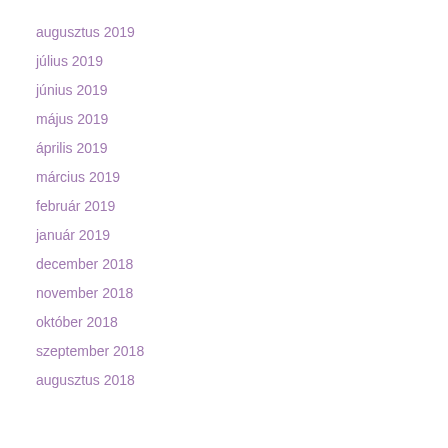augusztus 2019
július 2019
június 2019
május 2019
április 2019
március 2019
február 2019
január 2019
december 2018
november 2018
október 2018
szeptember 2018
augusztus 2018